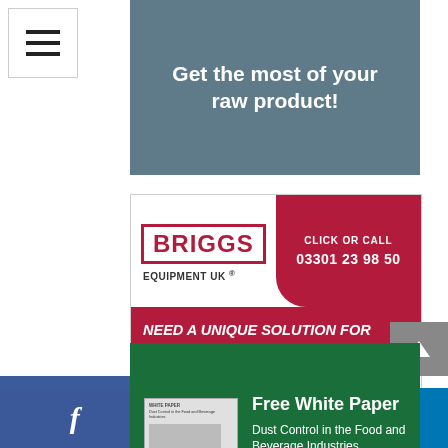[Figure (screenshot): Navigation hamburger menu icon (three horizontal lines) in white box with border, top left corner]
[Figure (screenshot): Advertisement banner with grey-blue background: 'Get the most of your raw product!' in white bold text]
[Figure (screenshot): Briggs Equipment UK advertisement: logo with red border and text, phone number 03301 23 98 50, red background tagline 'NEED A UNIQUE SOLUTION FOR THE FOOD AND DRINK INDUSTRY?']
[Figure (screenshot): Camfil advertisement on dark green background: 'Free White Paper - Dust Control in the Food and Beverage Industries' with white paper image and Download now button, Camfil Air Pollution Control logo]
[Figure (screenshot): Partial blue strip at bottom of page content area]
[Figure (screenshot): Social media bar at bottom: Facebook (dark blue), Twitter (light blue), LinkedIn (medium blue) icons]